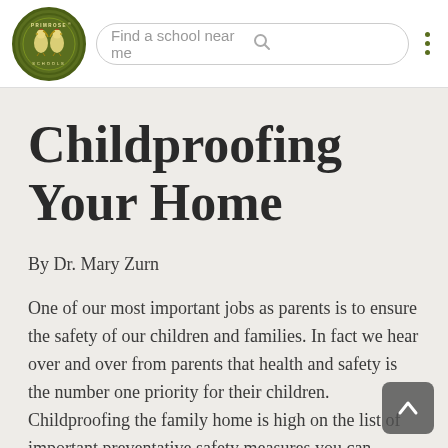[Figure (logo): Primrose Schools circular logo in olive green with two roosters/chickens and text 'PRIMROSE SCHOOLS']
Find a school near me
Childproofing Your Home
By Dr. Mary Zurn
One of our most important jobs as parents is to ensure the safety of our children and families. In fact we hear over and over from parents that health and safety is the number one priority for their children. Childproofing the family home is high on the list of important preventative safety measures you can